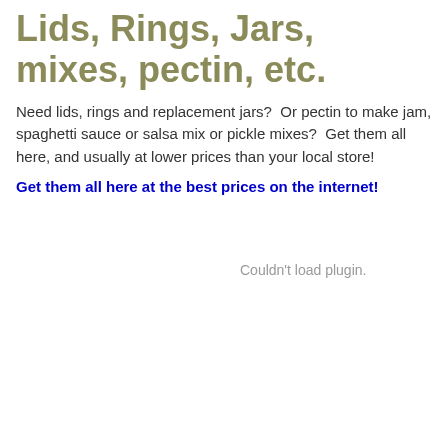Lids, Rings, Jars, mixes, pectin, etc.
Need lids, rings and replacement jars?  Or pectin to make jam, spaghetti sauce or salsa mix or pickle mixes?  Get them all here, and usually at lower prices than your local store!
Get them all here at the best prices on the internet!
Couldn't load plugin.